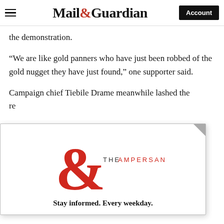Mail&Guardian | Account
the demonstration.
“We are like gold panners who have just been robbed of the gold nugget they have just found,” one supporter said.
Campaign chief Tiebile Drame meanwhile lashed the re
[Figure (logo): The Ampersand newsletter logo: a large red ampersand with 'THE AMPERSAND' text]
Stay informed. Every weekday.